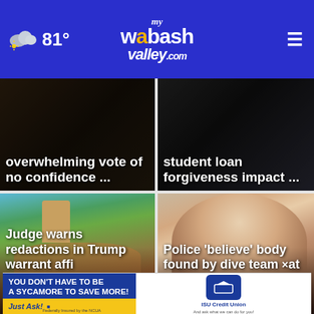81° my Wabash Valley .com
[Figure (screenshot): News card top-left with text overlay: overwhelming vote of no confidence ...]
[Figure (screenshot): News card top-right with text overlay: student loan forgiveness impact ...]
[Figure (photo): Aerial photo of Mar-a-Lago estate with palm trees and water]
Judge warns redactions in Trump warrant affi...
[Figure (photo): Close-up photo of a smiling blonde woman]
Police 'believe' body found by dive team × at
[Figure (other): ISU Credit Union advertisement banner: YOU DON'T HAVE TO BE A SYCAMORE TO SAVE MORE! Just Ask!]